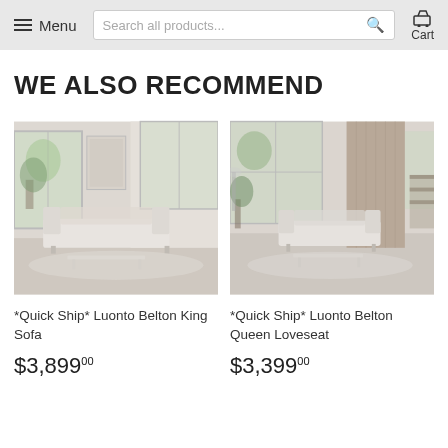Menu | Search all products... | Cart
WE ALSO RECOMMEND
[Figure (photo): White sofa in a modern bright living room with large windows and green plants - Luonto Belton King Sofa]
[Figure (photo): White loveseat in a modern bright living room with large windows, wooden wall panel and plants - Luonto Belton Queen Loveseat]
*Quick Ship* Luonto Belton King Sofa
*Quick Ship* Luonto Belton Queen Loveseat
$3,89900
$3,39900